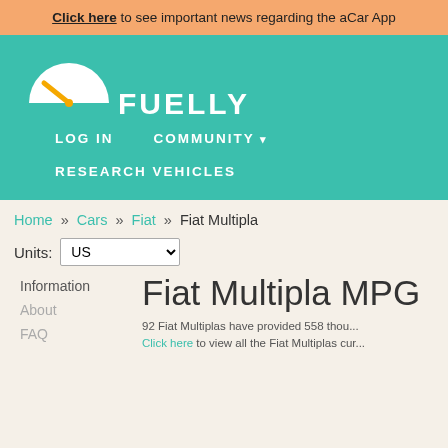Click here to see important news regarding the aCar App
[Figure (logo): Fuelly logo: white speedometer icon with orange needle on teal background, with FUELLY text in white bold capitals]
LOG IN   COMMUNITY ▾   RESEARCH VEHICLES
Home » Cars » Fiat » Fiat Multipla
Units: US
Information
About
FAQ
Fiat Multipla MPG
92 Fiat Multiplas have provided 558 thou... Click here to view all the Fiat Multiplas cur...